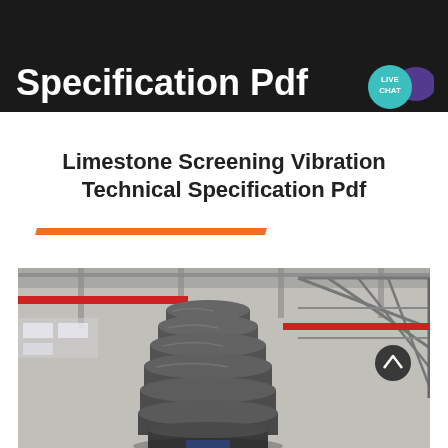Technical Specification Pdf
[Figure (other): LIVE CHAT icon bubble in teal with purple speech bubble overlay]
Limestone Screening Vibration Technical Specification Pdf
[Figure (photo): Industrial photo of a large grey cone crusher or vibration screen machine inside a factory/plant with steel scaffolding, red pipes, and industrial beams in the background]